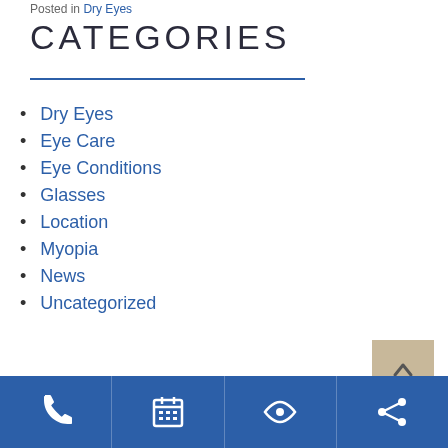Posted in Dry Eyes
CATEGORIES
Dry Eyes
Eye Care
Eye Conditions
Glasses
Location
Myopia
News
Uncategorized
[Figure (other): Back to top button with upward arrow, tan/beige background]
Footer navigation bar with phone, calendar, eye, and share icons